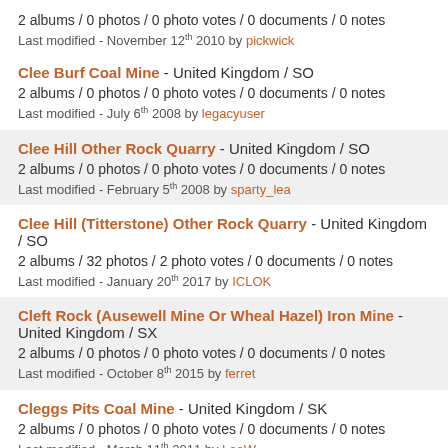2 albums / 0 photos / 0 photo votes / 0 documents / 0 notes
Last modified - November 12th 2010 by pickwick
Clee Burf Coal Mine - United Kingdom / SO
2 albums / 0 photos / 0 photo votes / 0 documents / 0 notes
Last modified - July 6th 2008 by legacyuser
Clee Hill Other Rock Quarry - United Kingdom / SO
2 albums / 0 photos / 0 photo votes / 0 documents / 0 notes
Last modified - February 5th 2008 by sparty_lea
Clee Hill (Titterstone) Other Rock Quarry - United Kingdom / SO
2 albums / 32 photos / 2 photo votes / 0 documents / 0 notes
Last modified - January 20th 2017 by ICLOK
Cleft Rock (Ausewell Mine Or Wheal Hazel) Iron Mine - United Kingdom / SX
2 albums / 0 photos / 0 photo votes / 0 documents / 0 notes
Last modified - October 8th 2015 by ferret
Cleggs Pits Coal Mine - United Kingdom / SK
2 albums / 0 photos / 0 photo votes / 0 documents / 0 notes
Last modified - March 11th 2011 by LeeW